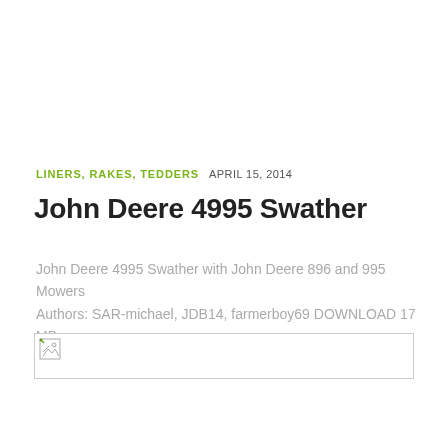LINERS, RAKES, TEDDERS   APRIL 15, 2014
John Deere 4995 Swather
John Deere 4995 Swather with John Deere 896 and 995 Mowers Authors: SAR-michael, JDB14, farmerboy69 DOWNLOAD 17 MB.
[Figure (photo): Broken image placeholder]